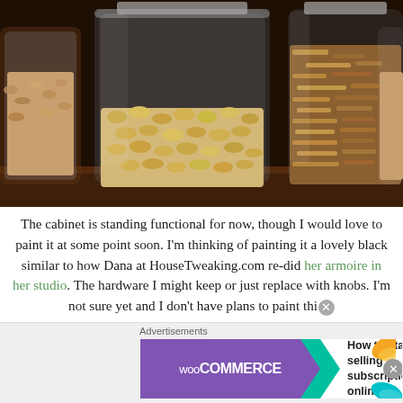[Figure (photo): Photograph of three glass storage jars with wire bail lids sitting on a wooden surface. The left jar contains mixed nuts/seeds, the center jar contains light-colored beans or pine nuts, and the right jar contains granola or mixed oats/dried fruit.]
The cabinet is standing functional for now, though I would love to paint it at some point soon. I'm thinking of painting it a lovely black similar to how Dana at HouseTweaking.com re-did her armoire in her studio. The hardware I might keep or just replace with knobs. I'm not sure yet and I don't have plans to paint thi
[Figure (screenshot): WooCommerce advertisement banner. Purple left panel with WooCommerce logo and a teal arrow/chevron. Right side reads 'How to start selling subscriptions online' with orange and teal decorative leaf shapes. Close button (X) on the right edge.]